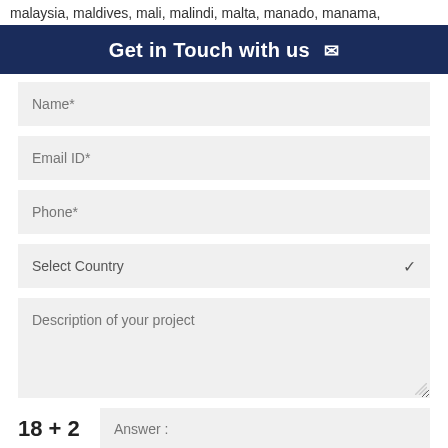malaysia, maldives, mali, malindi, malta, manado, manama,
Get in Touch with us ✉
Name*
Email ID*
Phone*
Select Country
Description of your project
Answer :
SUBMIT